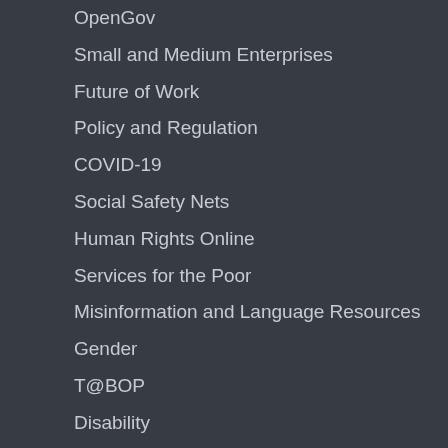OpenGov
Small and Medium Enterprises
Future of Work
Policy and Regulation
COVID-19
Social Safety Nets
Human Rights Online
Services for the Poor
Misinformation and Language Resources
Gender
T@BOP
Disability
AfterAccess
CPRSouth
Disasters
Social
Twitter